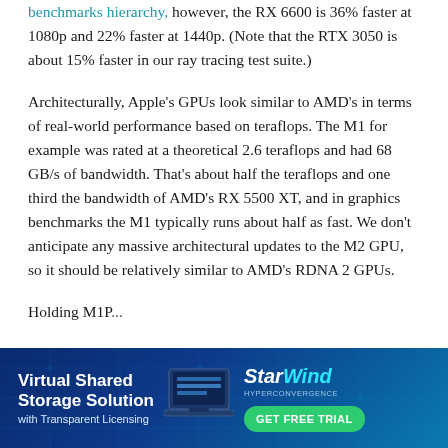benchmarks hierarchy, however, the RX 6600 is 36% faster at 1080p and 22% faster at 1440p. (Note that the RTX 3050 is about 15% faster in our ray tracing test suite.)
Architecturally, Apple's GPUs look similar to AMD's in terms of real-world performance based on teraflops. The M1 for example was rated at a theoretical 2.6 teraflops and had 68 GB/s of bandwidth. That's about half the teraflops and one third the bandwidth of AMD's RX 5500 XT, and in graphics benchmarks the M1 typically runs about half as fast. We don't anticipate any massive architectural updates to the M2 GPU, so it should be relatively similar to AMD's RDNA 2 GPUs.
Holding M1P...
[Figure (infographic): Advertisement banner for StarWind Hyperconvergence: Virtual Shared Storage Solution with Transparent Licensing. Features a laptop graphic and a GET FREE TRIAL button.]